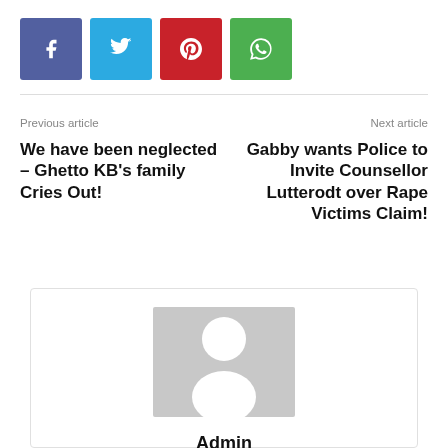[Figure (infographic): Social share buttons: Facebook (purple), Twitter (blue), Pinterest (red), WhatsApp (green)]
Previous article
Next article
We have been neglected – Ghetto KB's family Cries Out!
Gabby wants Police to Invite Counsellor Lutterodt over Rape Victims Claim!
[Figure (photo): Author avatar placeholder – grey silhouette on grey background]
Admin
[Figure (infographic): Author social icons: Facebook, Instagram, Twitter]